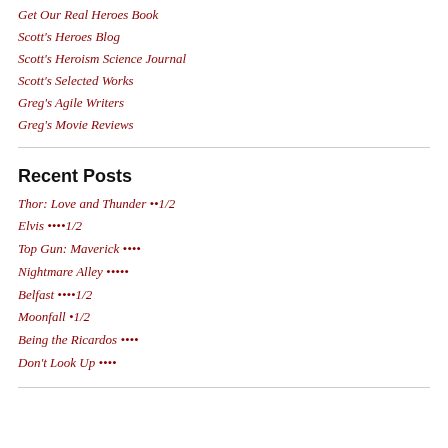Get Our Real Heroes Book
Scott's Heroes Blog
Scott's Heroism Science Journal
Scott's Selected Works
Greg's Agile Writers
Greg's Movie Reviews
Recent Posts
Thor: Love and Thunder ••1/2
Elvis ••••1/2
Top Gun: Maverick ••••
Nightmare Alley •••••
Belfast ••••1/2
Moonfall •1/2
Being the Ricardos ••••
Don't Look Up ••••